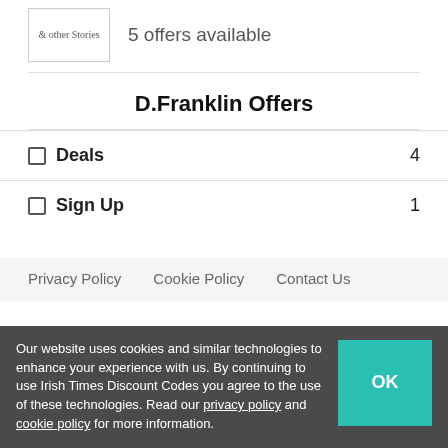[Figure (logo): & Other Stories brand logo in handwritten/script style inside a bordered box]
5 offers available
D.Franklin Offers
Deals  4
Sign Up  1
Privacy Policy   Cookie Policy   Contact Us
Our website uses cookies and similar technologies to enhance your experience with us. By continuing to use Irish Times Discount Codes you agree to the use of these technologies. Read our privacy policy and cookie policy for more information.